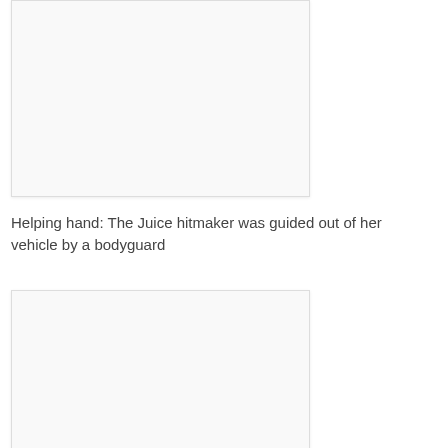[Figure (photo): Photo placeholder box at top of page]
Helping hand: The Juice hitmaker was guided out of her vehicle by a bodyguard
[Figure (photo): Photo placeholder box at bottom of page]